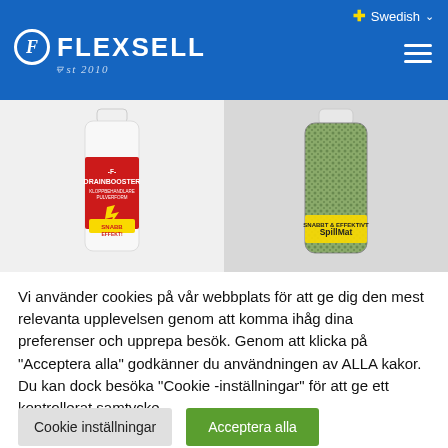Swedish — Flexsell Est 2010
[Figure (screenshot): Two product bottles: Drainbooster (red label) on the left and SpillMate (green granules) on the right]
Vi använder cookies på vår webbplats för att ge dig den mest relevanta upplevelsen genom att komma ihåg dina preferenser och upprepa besök. Genom att klicka på "Acceptera alla" godkänner du användningen av ALLA kakor. Du kan dock besöka "Cookie -inställningar" för att ge ett kontrollerat samtycke.
Cookie inställningar
Acceptera alla